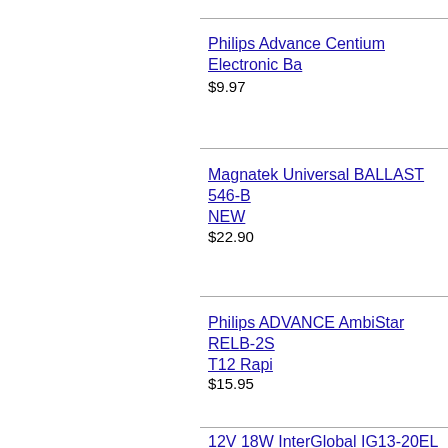Philips Advance Centium Electronic Ba
$9.97
Magnatek Universal BALLAST 546-B NEW
$22.90
Philips ADVANCE AmbiStar RELB-2S T12 Rapi
$15.95
12V 18W InterGlobal IG13-20EL Elec